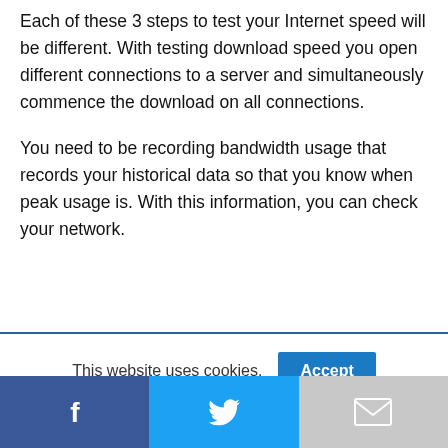Each of these 3 steps to test your Internet speed will be different. With testing download speed you open different connections to a server and simultaneously commence the download on all connections.
You need to be recording bandwidth usage that records your historical data so that you know when peak usage is. With this information, you can check your network.
This website uses cookies.
[Figure (infographic): Social share bar with Facebook (blue), Twitter (light blue), and Gmail (grey) buttons]